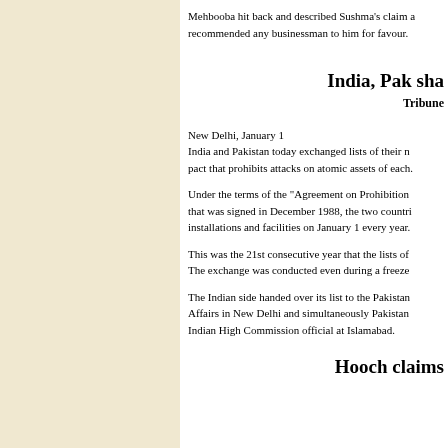Mehbooba hit back and described Sushma's claim a recommended any businessman to him for favour.
India, Pak sha
Tribune
New Delhi, January 1
India and Pakistan today exchanged lists of their n pact that prohibits attacks on atomic assets of each.
Under the terms of the "Agreement on Prohibition that was signed in December 1988, the two countri installations and facilities on January 1 every year.
This was the 21st consecutive year that the lists of The exchange was conducted even during a freeze
The Indian side handed over its list to the Pakistan Affairs in New Delhi and simultaneously Pakistan Indian High Commission official at Islamabad.
Hooch claims